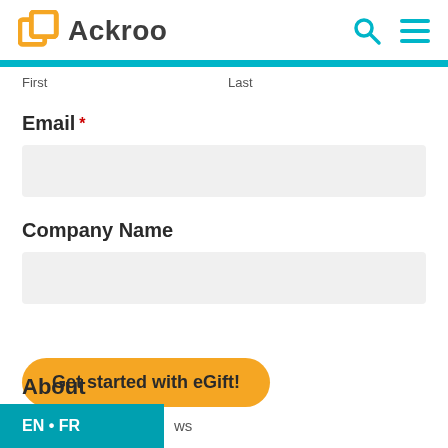Ackroo
First   Last
Email *
Company Name
Get started with eGift!
About
EN • FR
ws